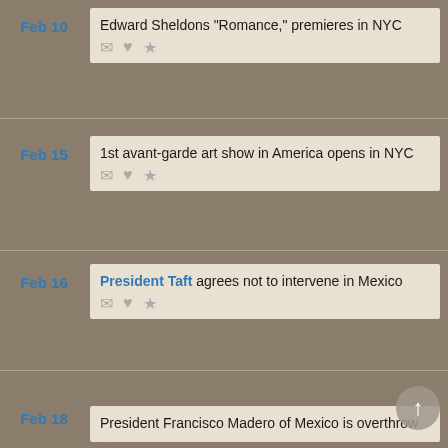Feb 10 — Edward Sheldons "Romance," premieres in NYC
Feb 15 — 1st avant-garde art show in America opens in NYC
Feb 16 — President Taft agrees not to intervene in Mexico
We use cookies to understand how you use our site and to improve your experience. This includes personalizing content for you and for the display and tracking of advertising. By continuing to use our site, you accept and agree to our use of cookies. Privacy Policy
Feb 18 — President Francisco Madero of Mexico is overthrown